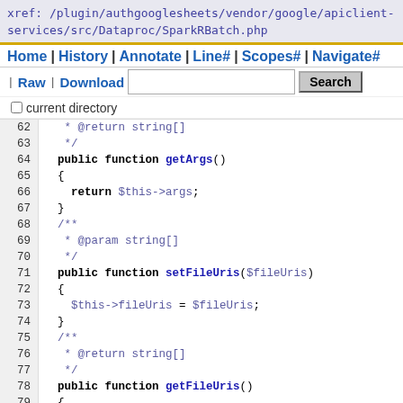xref: /plugin/authgooglesheets/vendor/google/apiclient-services/src/Dataproc/SparkRBatch.php
Home | History | Annotate | Line# | Scopes# | Navigate# | Raw | Download  [search box] [Search button]  current directory
[Figure (screenshot): PHP source code viewer showing lines 62-85 of SparkRBatch.php with syntax highlighting. Lines show getArgs(), setFileUris(), getFileUris(), and beginning of setMainRFileUri() functions with PHPDoc comments.]